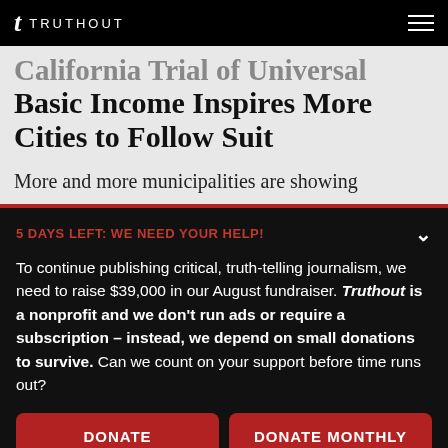TRUTHOUT
California Trial of Universal Basic Income Inspires More Cities to Follow Suit
More and more municipalities are showing
5 DAYS LEFT: WE NEED YOUR HELP!
To continue publishing critical, truth-telling journalism, we need to raise $39,000 in our August fundraiser. Truthout is a nonprofit and we don't run ads or require a subscription – instead, we depend on small donations to survive. Can we count on your support before time runs out?
DONATE
DONATE MONTHLY